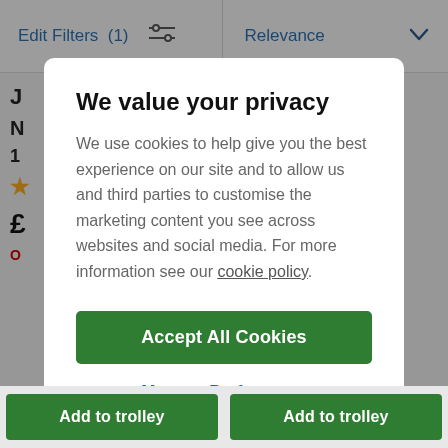Edit Filters (1)   Relevance
We value your privacy
We use cookies to help give you the best experience on our site and to allow us and third parties to customise the marketing content you see across websites and social media. For more information see our cookie policy.
Accept All Cookies
Manage Preferences
Add to trolley   Add to trolley